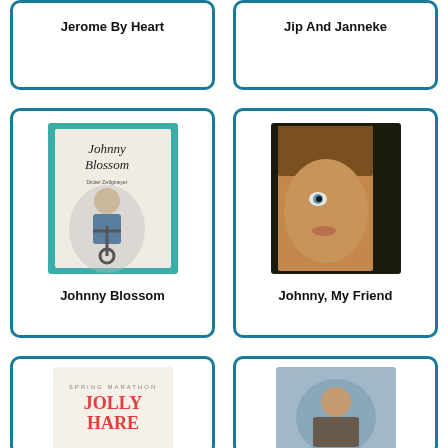[Figure (illustration): Book card for Jerome By Heart - top portion of card visible with title]
Jerome By Heart
[Figure (illustration): Book card for Jip And Janneke - top portion of card visible with title]
Jip And Janneke
[Figure (illustration): Book card showing Johnny Blossom book cover - black and white illustration of a boy in sailor suit sitting on an anchor]
Johnny Blossom
[Figure (illustration): Book card showing Johnny My Friend book cover by Peter Pohl - close-up portrait of a young person with blonde hair]
Johnny, My Friend
[Figure (illustration): Book card for Jolly Hare - partially visible bottom card with text JOLLY HARE]
[Figure (illustration): Book card - partially visible bottom card with illustrated cover]